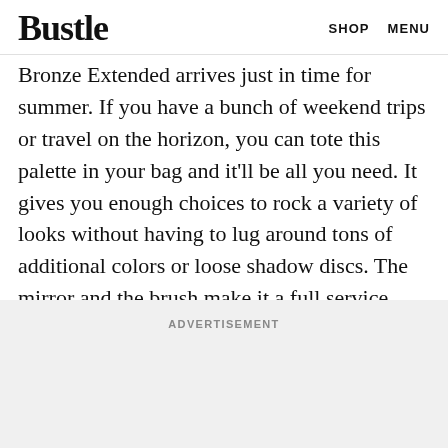Bustle  SHOP  MENU
Bronze Extended arrives just in time for summer. If you have a bunch of weekend trips or travel on the horizon, you can tote this palette in your bag and it'll be all you need. It gives you enough choices to rock a variety of looks without having to lug around tons of additional colors or loose shadow discs. The mirror and the brush make it a full service, travel-friendly set.
ADVERTISEMENT